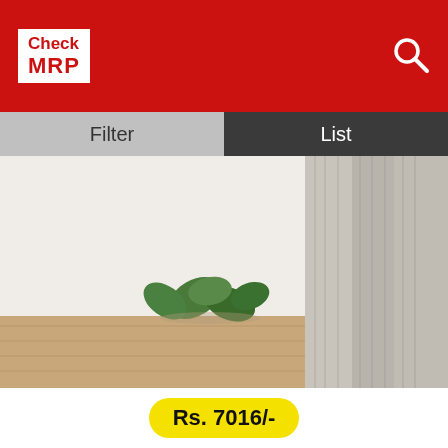Check MRP
[Figure (screenshot): App navigation bar with Filter and List tabs]
[Figure (photo): Linen curtains hanging by a window with green plants]
Rs. 7016/-
Innermor Plaid Blackout Home Decor Curtain For Living room Darpe Faux linen Curtains for Bedroom Rideaux Window Customized
Selling By: Alibaba.com(In Stock)
Full View
[Figure (photo): Gold/yellow textured curtains hanging by a window]